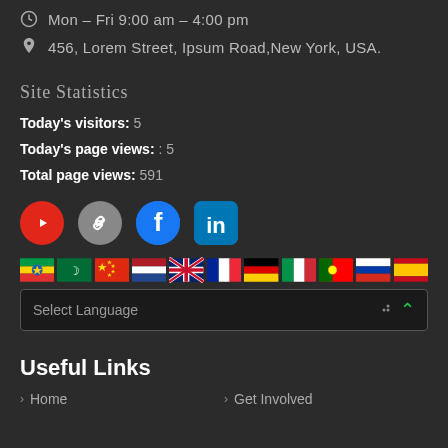Mon – Fri 9:00 am – 4:00 pm
456, Lorem Street, Ipsum Road,New York, USA.
Site Statistics
Today's visitors: 5
Today's page views: : 5
Total page views: 591
[Figure (other): Social media icons: YouTube (red), chain link (gray), Facebook (blue), LinkedIn (blue)]
[Figure (other): Row of country flag icons: Ethiopia, Arabic, China, Netherlands, UK, France, Germany, Italy, Portugal, Russia, Spain]
Select Language
Useful Links
Home
Get Involved